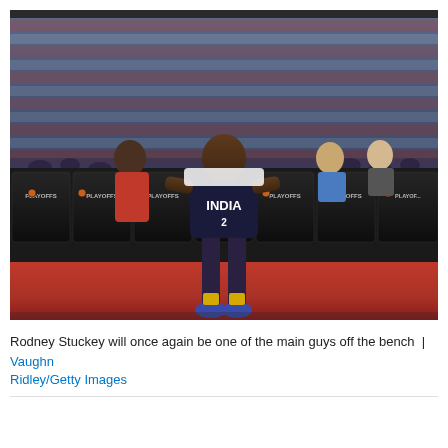[Figure (photo): NBA player Rodney Stuckey in an Indiana Pacers uniform sitting alone on the bench during an NBA Playoffs game, with rows of black chairs labeled 'PLAYOFFS' around him and a packed arena crowd in the background. The court floor is red.]
Rodney Stuckey will once again be one of the main guys off the bench | Vaughn Ridley/Getty Images